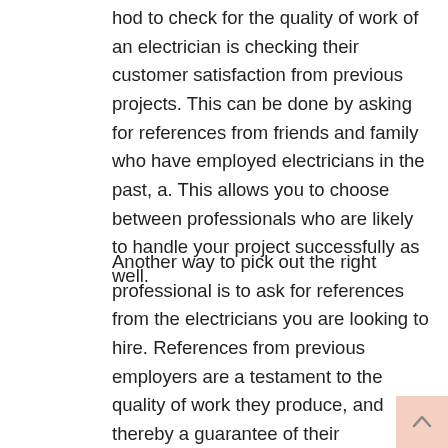hod to check for the quality of work of an electrician is checking their customer satisfaction from previous projects. This can be done by asking for references from friends and family who have employed electricians in the past, a. This allows you to choose between professionals who are likely to handle your project successfully as well.
Another way to pick out the right professional is to ask for references from the electricians you are looking to hire. References from previous employers are a testament to the quality of work they produce, and thereby a guarantee of their professionalism and efficiency.